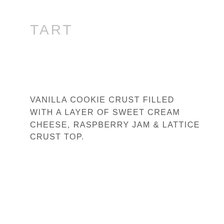TART
VANILLA COOKIE CRUST FILLED WITH A LAYER OF SWEET CREAM CHEESE, RASPBERRY JAM & LATTICE CRUST TOP.